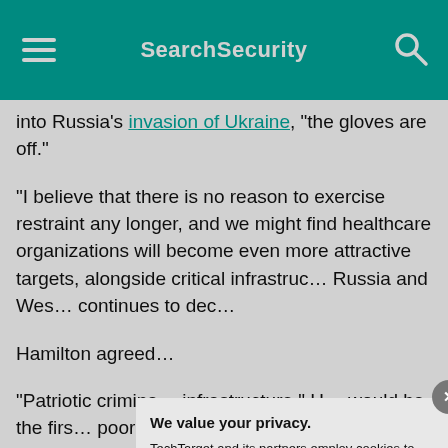SearchSecurity
into Russia's invasion of Ukraine, "the gloves are off."
"I believe that there is no reason to exercise restraint any longer, and we might find healthcare organizations will become even more attractive targets, alongside critical infrastruc… Russia and Wes… continues to dec…
Hamilton agreed…
"Patriotic crimina… infrastructure," H… would be the firs… poorly protected… choice if you wa… place where it's…
We value your privacy.
TechTarget and its partners employ cookies to improve your experience on our site, to analyze traffic and performance, and to serve personalized content and advertising that are relevant to your professional interests. You can manage your settings at any time. Please view our Privacy Policy for more information